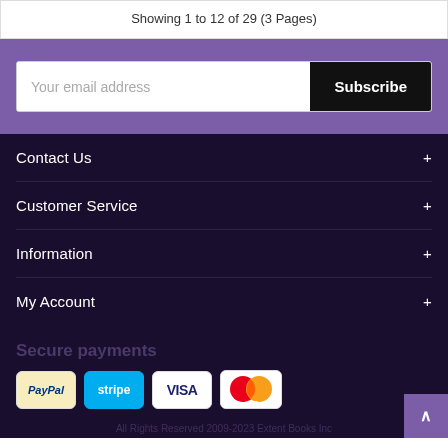Showing 1 to 12 of 29 (3 Pages)
Your email address
Subscribe
Contact Us +
Customer Service +
Information +
My Account +
Secure payments
[Figure (logo): PayPal payment logo]
[Figure (logo): Stripe payment logo]
[Figure (logo): VISA payment logo]
[Figure (logo): MasterCard payment logo]
All Rights Reserved 2009-2023 Extent Books Inc